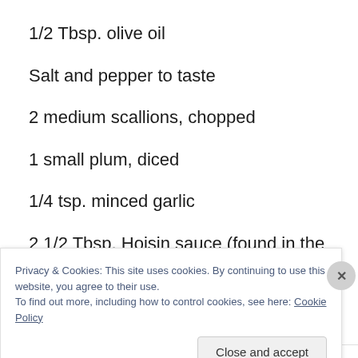1/2 Tbsp. olive oil
Salt and pepper to taste
2 medium scallions, chopped
1 small plum, diced
1/4 tsp. minced garlic
2 1/2 Tbsp. Hoisin sauce (found in the Asian section of
Privacy & Cookies: This site uses cookies. By continuing to use this website, you agree to their use.
To find out more, including how to control cookies, see here: Cookie Policy